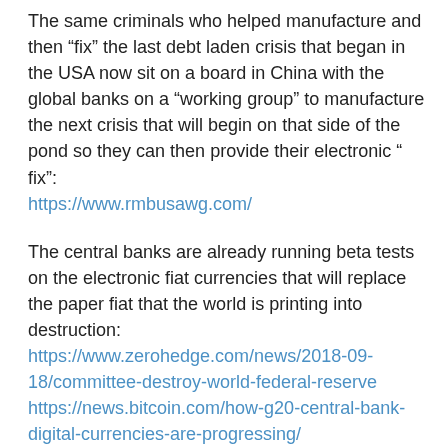The same criminals who helped manufacture and then “fix” the last debt laden crisis that began in the USA now sit on a board in China with the global banks on a “working group” to manufacture the next crisis that will begin on that side of the pond so they can then provide their electronic “ fix”: https://www.rmbusawg.com/
The central banks are already running beta tests on the electronic fiat currencies that will replace the paper fiat that the world is printing into destruction: https://www.zerohedge.com/news/2018-09-18/committee-destroy-world-federal-reserve https://news.bitcoin.com/how-g20-central-bank-digital-currencies-are-progressing/
Every country is jumping on board with biometric identity that will be used to access the internet to access the blockchain to access digital money to buy or sell: https://www.zerohedge.com/geopolitical/chinese-citizens-will-be-required-scan-their-faces-use-internet